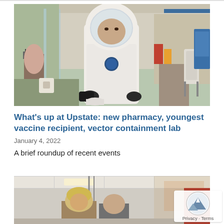[Figure (photo): A researcher in a white full-body protective suit and face shield works in a laboratory containment setting, handling equipment behind a clear protective barrier. Lab equipment and chairs visible in background.]
What's up at Upstate: new pharmacy, youngest vaccine recipient, vector containment lab
January 4, 2022
A brief roundup of recent events
[Figure (photo): Partial view of people in an indoor room, appears to be a medical or institutional setting with red wall visible.]